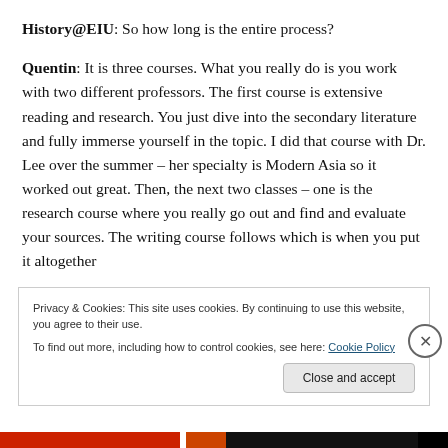History@EIU: So how long is the entire process?
Quentin: It is three courses. What you really do is you work with two different professors. The first course is extensive reading and research. You just dive into the secondary literature and fully immerse yourself in the topic. I did that course with Dr. Lee over the summer – her specialty is Modern Asia so it worked out great. Then, the next two classes – one is the research course where you really go out and find and evaluate your sources. The writing course follows which is when you put it altogether
Privacy & Cookies: This site uses cookies. By continuing to use this website, you agree to their use.
To find out more, including how to control cookies, see here: Cookie Policy
Close and accept